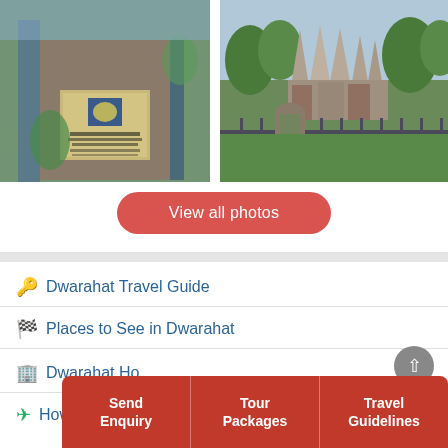[Figure (photo): Entrance gate of Britumjar Temple, Dwarahat with an ASI signboard]
[Figure (photo): Aerial view of ancient stone temples in Dwarahat with multiple spires and lush greenery]
View all photos
Dwarahat Travel Guide
Places to See in Dwarahat
Dwarahat Hotels
How to Reach
Send Enquiry
Tour Packages
Travel Guidelines